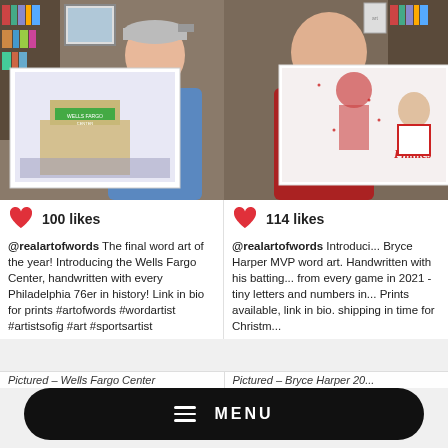[Figure (photo): Man holding up a Wells Fargo Center word art print, smiling, wearing a blue shirt and backwards cap, in front of bookshelves]
100 likes
@realartofwords The final word art of the year! Introducing the Wells Fargo Center, handwritten with every Philadelphia 76er in history! Link in bio for prints #artofwords #wordartist #artistsofig #art #sportsartist
[Figure (photo): Man holding up a Bryce Harper MVP Phillies word art print, smiling, wearing a red shirt, in front of bookshelves]
114 likes
@realartofwords Introducing Bryce Harper MVP word art. Handwritten with his batting stats from every game in 2021 - tiny letters and numbers in... Prints available, link in bio. shipping in time for Christm...
Pictured – Wells Fargo Center
Pictured – Bryce Harper 20...